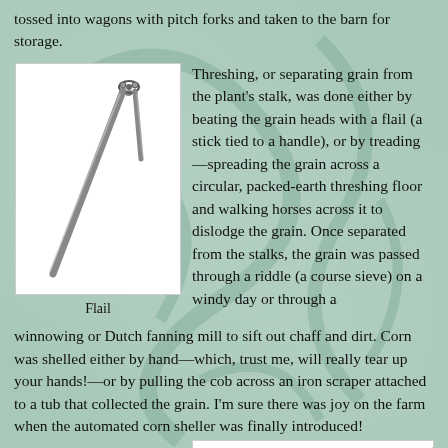tossed into wagons with pitch forks and taken to the barn for storage.
[Figure (illustration): Drawing of a flail — a long wooden handle connected by a short chain or leather to a shorter striking stick, shown diagonally.]
Flail
Threshing, or separating grain from the plant's stalk, was done either by beating the grain heads with a flail (a stick tied to a handle), or by treading—spreading the grain across a circular, packed-earth threshing floor and walking horses across it to dislodge the grain. Once separated from the stalks, the grain was passed through a riddle (a course sieve) on a windy day or through a winnowing or Dutch fanning mill to sift out chaff and dirt. Corn was shelled either by hand—which, trust me, will really tear up your hands!—or by pulling the cob across an iron scraper attached to a tub that collected the grain. I'm sure there was joy on the farm when the automated corn sheller was finally introduced!
Naturally it was
[Figure (illustration): Partial illustration of a cow or farm animal, shown from the side, with horns visible.]